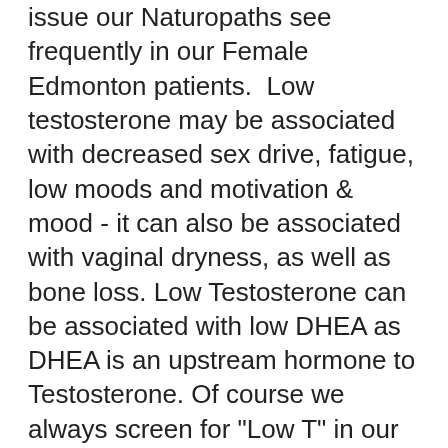issue our Naturopaths see frequently in our Female Edmonton patients.  Low testosterone may be associated with decreased sex drive, fatigue, low moods and motivation & mood - it can also be associated with vaginal dryness, as well as bone loss. Low Testosterone can be associated with low DHEA as DHEA is an upstream hormone to Testosterone. Of course we always screen for "Low T" in our male patients. There is a fairly robust nutrient workup when we are looking for causes of low Testosterone in our patients. Our Naturopathic doctors consider levels of Magnesium, Zinc, Manganese and Boron in our "Low T" patients as well as Vitamin K and D.
Saliva is a convenient way to measure